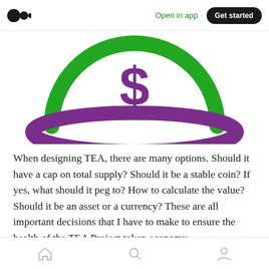Open in app   Get started
[Figure (illustration): Partial illustration showing a green arc/circle with a purple dollar sign symbol in the center and a large purple oval ring below it, representing a stylized coin or token graphic.]
When designing TEA, there are many options. Should it have a cap on total supply? Should it be a stable coin? If yes, what should it peg to? How to calculate the value? Should it be an asset or a currency? These are all important decisions that I have to make to ensure the health of the TEA Project token economy.